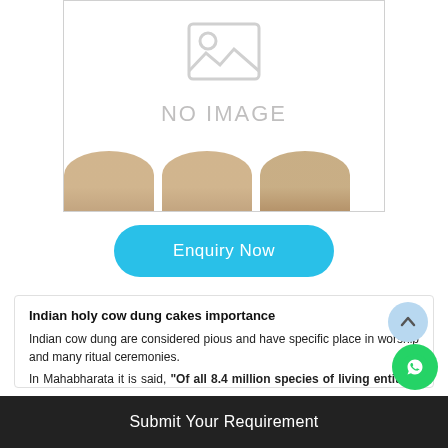[Figure (other): Product image placeholder box with a grey landscape/image icon, 'NO IMAGE' text, and three tan/brown rounded-top thumbnail images at the bottom]
Enquiry Now
Indian holy cow dung cakes importance
Indian cow dung are considered pious and have specific place in worship and many ritual ceremonies.
In Mahabharata it is said, "Of all 8.4 million species of living entities, only cow is such entity whose dung is pure and which purifies any kind of impurities"
Submit Your Requirement